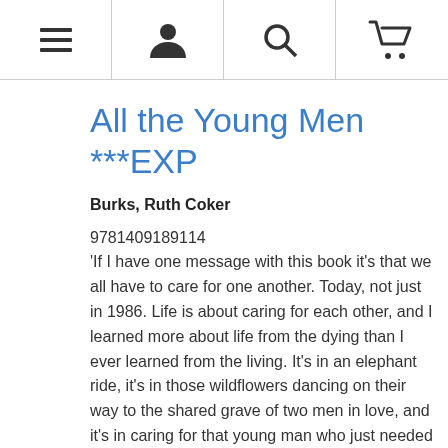[Navigation bar with menu, user, search, and cart icons]
All the Young Men ***EXP
Burks, Ruth Coker
9781409189114
'If I have one message with this book it's that we all have to care for one another. Today, not just in 1986. Life is about caring for each other, and I learned more about life from the dying than I ever learned from the living. It's in an elephant ride, it's in those wildflowers dancing on their way to the shared grave of two men in love, and it's in caring for that young man who just needed information without judgement.'